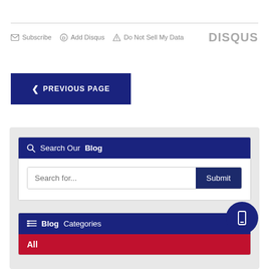Subscribe  Add Disqus  Do Not Sell My Data   DISQUS
[Figure (other): Previous Page navigation button - dark navy blue rectangle with left chevron and text PREVIOUS PAGE]
Search Our Blog
Search for...  Submit
Blog Categories
All